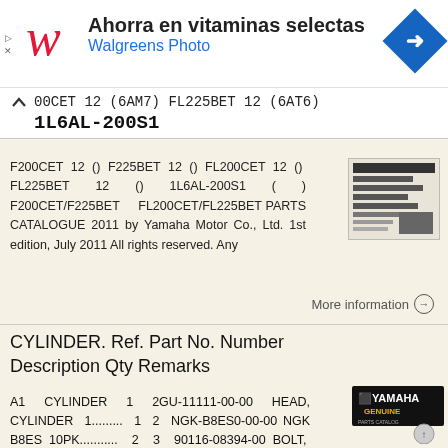[Figure (screenshot): Walgreens advertisement banner: 'Ahorra en vitaminas selectas / Walgreens Photo' with Walgreens W logo and navigation arrow icon]
00CET 12 (6AM7) FL225BET 12 (6AT6) 1L6AL-200S1
F200CET 12 () F225BET 12 () FL200CET 12 () FL225BET 12 () 1L6AL-200S1 ( ) F200CET/F225BET FL200CET/FL225BET PARTS CATALOGUE 2011 by Yamaha Motor Co., Ltd. 1st edition, July 2011 All rights reserved. Any
More information →
CYLINDER. Ref. Part No. Number Description Qty Remarks
A1 CYLINDER 1 2GU-11111-00-00 HEAD, CYLINDER 1......... 1 2 NGK-B8ES0-00-00 NGK B8ES 10PK........... 2 3 90116-08394-00 BOLT, STUB......... 3 4 95816-08640-00